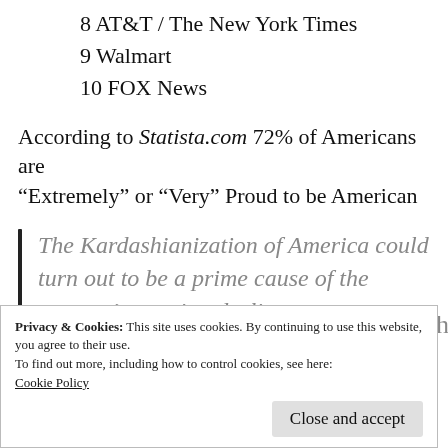8 AT&T / The New York Times
9 Walmart
10 FOX News
According to Statista.com 72% of Americans are “Extremely” or “Very” Proud to be American
The Kardashianization of America could turn out to be a prime cause of the country’s ongoing decline.
Privacy & Cookies: This site uses cookies. By continuing to use this website, you agree to their use.
To find out more, including how to control cookies, see here: Cookie Policy
help to condition the intellectual atmosphere